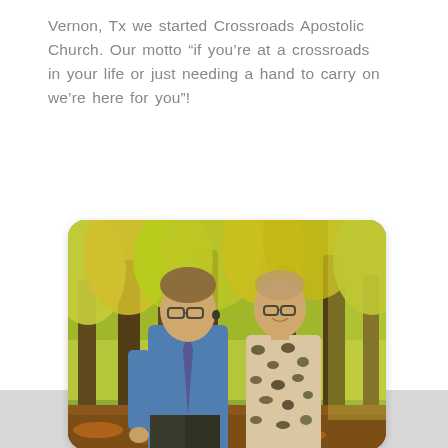Vernon, Tx we started Crossroads Apostolic Church. Our motto “if you’re at a crossroads in your life or just needing a hand to carry on we’re here for you”!
[Figure (photo): A man in a blue shirt and striped tie and a woman in a leopard print top standing together outdoors in front of autumn trees with yellow and green foliage.]